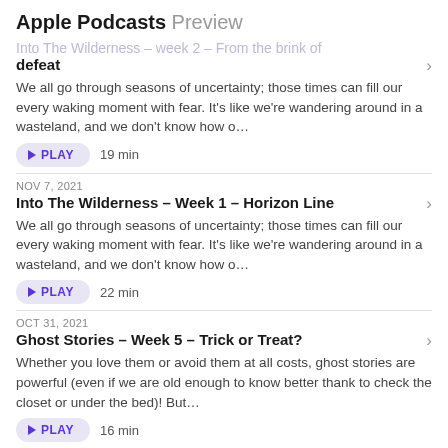Apple Podcasts Preview
Into The Wilderness - week 2 - From the brink of defeat
We all go through seasons of uncertainty; those times can fill our every waking moment with fear. It's like we're wandering around in a wasteland, and we don't know how o…
PLAY  19 min
NOV 7, 2021
Into The Wilderness - Week 1 - Horizon Line
We all go through seasons of uncertainty; those times can fill our every waking moment with fear. It's like we're wandering around in a wasteland, and we don't know how o…
PLAY  22 min
OCT 31, 2021
Ghost Stories - Week 5 - Trick or Treat?
Whether you love them or avoid them at all costs, ghost stories are powerful (even if we are old enough to know better thank to check the closet or under the bed)! But…
PLAY  16 min